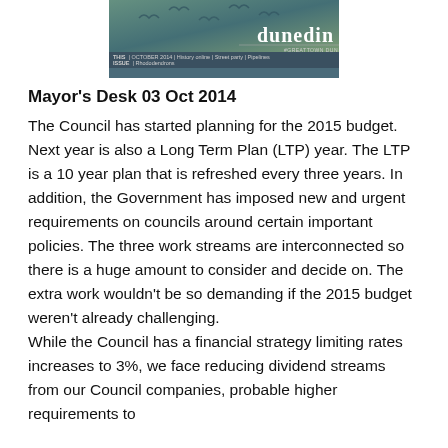[Figure (illustration): Dunedin magazine banner/header image with teal and nature-themed background, showing 'dunedin' text with tagline '#GREATTOWN DUN'. Bottom bar shows 'THIS ISSUE | OCTOBER 2014 | History online | Street party | Pipelines | Rhododendrons']
Mayor's Desk 03 Oct 2014
The Council has started planning for the 2015 budget. Next year is also a Long Term Plan (LTP) year. The LTP is a 10 year plan that is refreshed every three years. In addition, the Government has imposed new and urgent requirements on councils around certain important policies. The three work streams are interconnected so there is a huge amount to consider and decide on. The extra work wouldn't be so demanding if the 2015 budget weren't already challenging.
While the Council has a financial strategy limiting rates increases to 3%, we face reducing dividend streams from our Council companies, probable higher requirements to